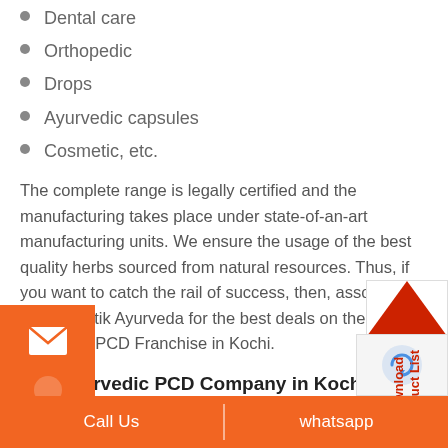Dental care
Orthopedic
Drops
Ayurvedic capsules
Cosmetic, etc.
The complete range is legally certified and the manufacturing takes place under state-of-an-art manufacturing units. We ensure the usage of the best quality herbs sourced from natural resources. Thus, if you want to catch the rail of success, then, associate with Swastik Ayurveda for the best deals on the ayurvedic PCD Franchise in Kochi.
Top Ayurvedic PCD Company in Kochi – Swastik Ayurveda
Swastik Ayurveda is the top Ayurvedic Company that believes in serving mankind with the best quality herbal products and service at very reasonable prices. By using quality herbs, better formulations, quality equipment, and the best manufacturing